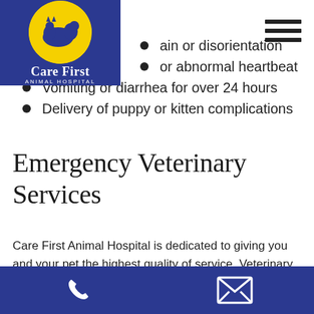[Figure (logo): Care First Animal Hospital logo — blue rectangle with yellow circle containing silhouette of dog and cat, white text 'Care First ANIMAL HOSPITAL']
…ain or disorientation
…or abnormal heartbeat
Vomiting or diarrhea for over 24 hours
Delivery of puppy or kitten complications
Emergency Veterinary Services
Care First Animal Hospital is dedicated to giving you and your pet the highest quality of service. Veterinary services include::
[Figure (other): Dark blue footer bar with white phone icon on left and white envelope/mail icon on right]